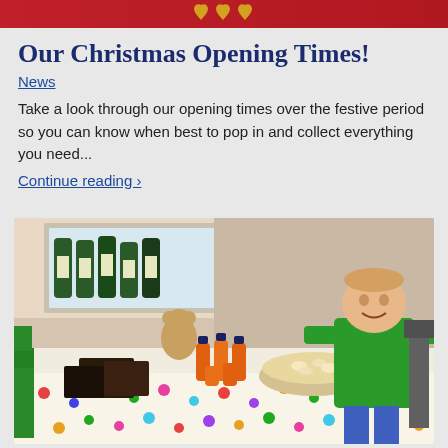Our Christmas Opening Times!
News
Take a look through our opening times over the festive period so you can know when best to pop in and collect everything you need...
Continue reading ›
[Figure (photo): A child wearing a green shirt sitting behind a table covered with a colourful polka-dot tablecloth, with food items, drinks bottles, chocolates and a bowl of snacks on the table. In the background there are wine bottles on a shelf and a window.]